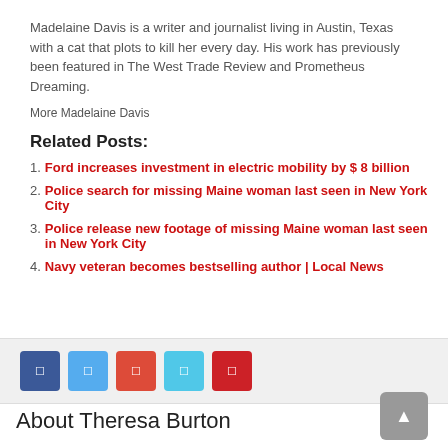Madelaine Davis is a writer and journalist living in Austin, Texas with a cat that plots to kill her every day. His work has previously been featured in The West Trade Review and Prometheus Dreaming.
More Madelaine Davis
Related Posts:
Ford increases investment in electric mobility by $ 8 billion
Police search for missing Maine woman last seen in New York City
Police release new footage of missing Maine woman last seen in New York City
Navy veteran becomes bestselling author | Local News
[Figure (infographic): Social sharing buttons: Facebook, Twitter, Google+, LinkedIn, Pinterest]
About Theresa Burton